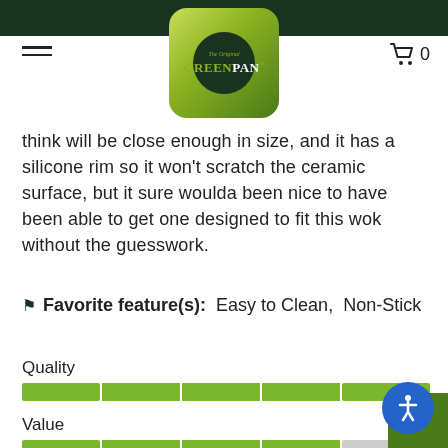[Figure (logo): GreenPan logo in rounded green square with dark circle]
think will be close enough in size, and it has a silicone rim so it won't scratch the ceramic surface, but it sure woulda been nice to have been able to get one designed to fit this wok without the guesswork.
🏷 Favorite feature(s): Easy to Clean, Non-Stick
Quality
[Figure (bar-chart): Full 5-segment green rating bar for Quality]
Value
[Figure (bar-chart): 4 of 5 segments filled green rating bar for Value]
Performance
[Figure (bar-chart): Partially visible rating bar for Performance at bottom of page]